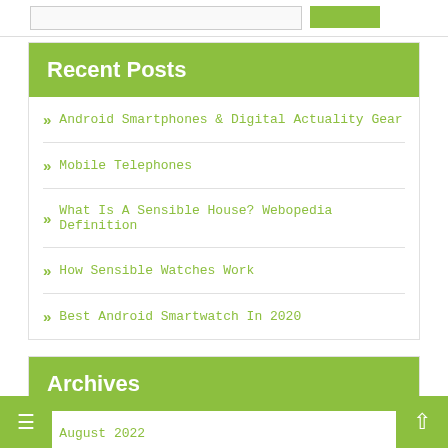Recent Posts
Android Smartphones & Digital Actuality Gear
Mobile Telephones
What Is A Sensible House? Webopedia Definition
How Sensible Watches Work
Best Android Smartwatch In 2020
Archives
August 2022
July 2022